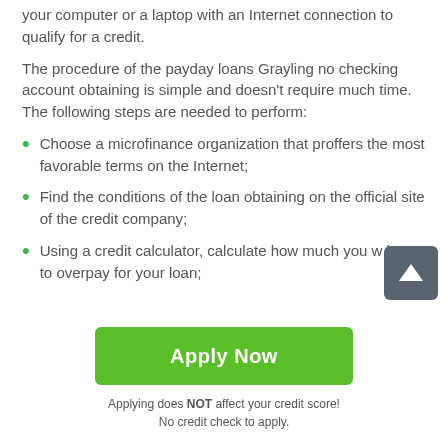your computer or a laptop with an Internet connection to qualify for a credit.
The procedure of the payday loans Grayling no checking account obtaining is simple and doesn't require much time. The following steps are needed to perform:
Choose a microfinance organization that proffers the most favorable terms on the Internet;
Find the conditions of the loan obtaining on the official site of the credit company;
Using a credit calculator, calculate how much you will have to overpay for your loan;
Apply Now
Applying does NOT affect your credit score!
No credit check to apply.